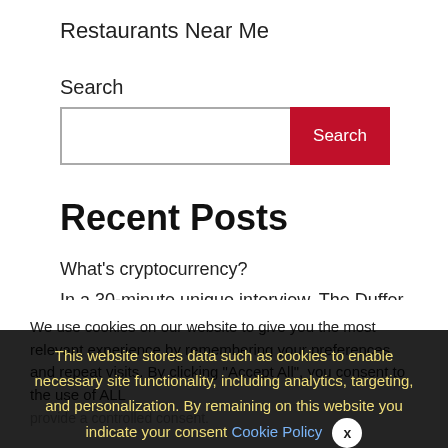Restaurants Near Me
Search
[Figure (screenshot): Search input box with red Search button]
Recent Posts
What's cryptocurrency?
In a 30-minute unique interview, The Duffer Brothers
We use cookies on our website to give you the most relevant experience by remembering your preferences and repeat visits. By clicking "Accept All", you consent to the use of ALL provide a controlled consent.
This website stores data such as cookies to enable necessary site functionality, including analytics, targeting, and personalization. By remaining on this website you indicate your consent Cookie Policy